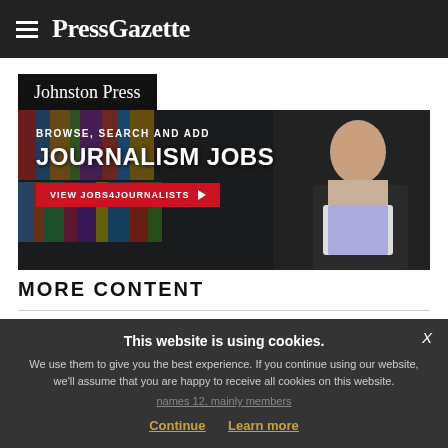PressGazette
Johnston Press
[Figure (illustration): Advertisement banner: BROWSE, SEARCH AND ADD JOURNALISM JOBS — VIEW JOBS4JOURNALISTS button with arrow, featuring a woman in professional attire against a bookshelf background]
MORE CONTENT
This website is using cookies. We use them to give you the best experience. If you continue using our website, we'll assume that you are happy to receive all cookies on this website.
names 12, mainly members
Continue   Learn more